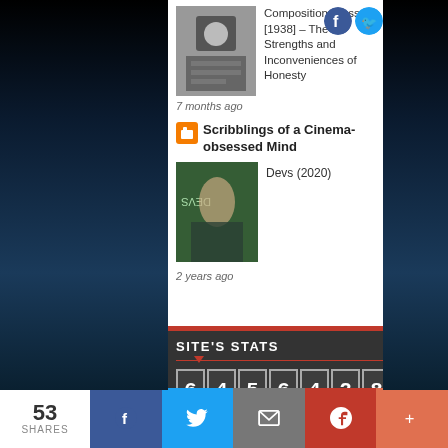[Figure (photo): Thumbnail image of a person at a desk, black and white]
Composition Class [1938] – The Strengths and Inconveniences of Honesty
[Figure (logo): Social media icons: Facebook, Twitter, Instagram, LinkedIn]
7 months ago
[Figure (logo): Orange Blogger icon]
Scribblings of a Cinema-obsessed Mind
[Figure (photo): Devs (2020) movie poster thumbnail]
Devs (2020)
2 years ago
SITE'S STATS
6456428
53 SHARES